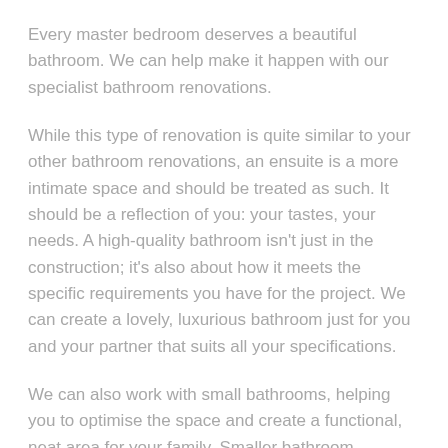Every master bedroom deserves a beautiful bathroom. We can help make it happen with our specialist bathroom renovations.
While this type of renovation is quite similar to your other bathroom renovations, an ensuite is a more intimate space and should be treated as such. It should be a reflection of you: your tastes, your needs. A high-quality bathroom isn't just in the construction; it's also about how it meets the specific requirements you have for the project. We can create a lovely, luxurious bathroom just for you and your partner that suits all your specifications.
We can also work with small bathrooms, helping you to optimise the space and create a functional, neat area for your family. Smaller bathroom renovations raise some challenges, but our experienced renovation team will be able to provide quality services.
When it comes to bathroom renovations, Derrimut homeowners can rely on us to deliver the best results for their project.